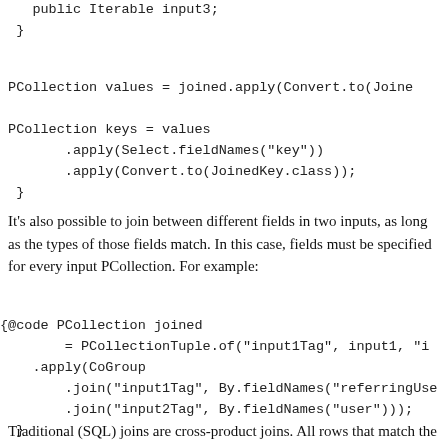public Iterable input3;
  }
PCollection values = joined.apply(Convert.to(Joine

 PCollection keys = values
        .apply(Select.fieldNames("key"))
        .apply(Convert.to(JoinedKey.class));
  }
It's also possible to join between different fields in two inputs, as long as the types of those fields match. In this case, fields must be specified for every input PCollection. For example:
{@code PCollection joined
        = PCollectionTuple.of("input1Tag", input1, "i
    .apply(CoGroup
        .join("input1Tag", By.fieldNames("referringUse
        .join("input2Tag", By.fieldNames("user")));
  }
Traditional (SQL) joins are cross-product joins. All rows that match the join condition are combined into